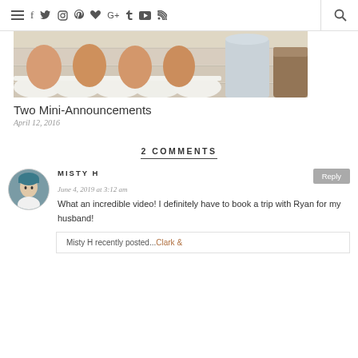≡ f t ○ ℗ ♥ G+ t ▶ ☰  🔍
[Figure (photo): A photo of brown eggs in a white wavy egg tray/holder on a wooden surface, with a pitcher and small jar visible on the right side.]
Two Mini-Announcements
April 12, 2016
2 COMMENTS
MISTY H
June 4, 2019 at 3:12 am
What an incredible video! I definitely have to book a trip with Ryan for my husband!
Misty H recently posted...Clark &